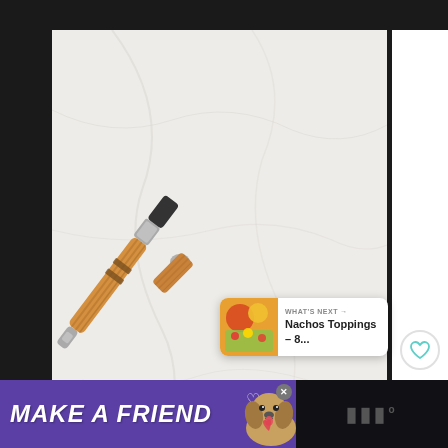[Figure (photo): A black non-stick frying pan with a wooden handle containing bread croutons, photographed from above on a marble/stone white surface background. The pan has a wooden handle with two dark ring accents and a silver metal collar.]
213
WHAT'S NEXT → Nachos Toppings – 8...
MAKE A FRIEND